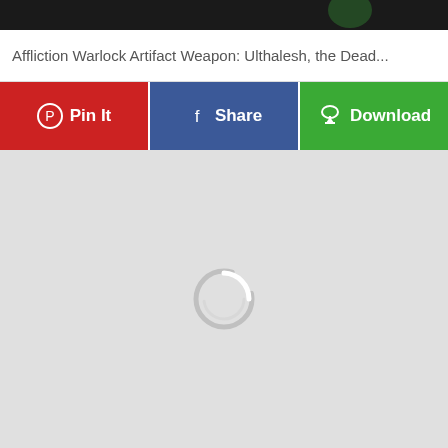[Figure (screenshot): Dark top image area showing partial game content]
Affliction Warlock Artifact Weapon: Ulthalesh, the Dead...
[Figure (infographic): Three social sharing buttons: Pin It (red, Pinterest), Share (blue, Facebook), Download (green)]
[Figure (screenshot): Large light gray content area with loading spinner in center]